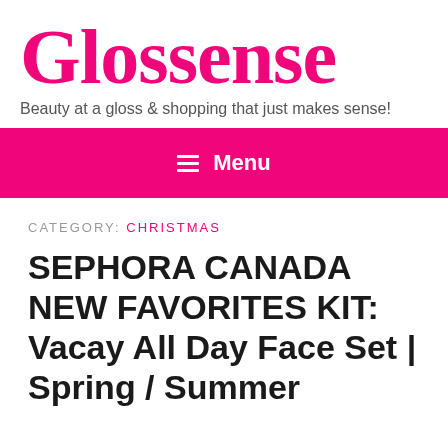[Figure (logo): Glossense logo — large pink serif text with tagline 'Beauty at a gloss & shopping that just makes sense!']
≡ Menu
CATEGORY: CHRISTMAS
SEPHORA CANADA NEW FAVORITES KIT: Vacay All Day Face Set | Spring / Summer